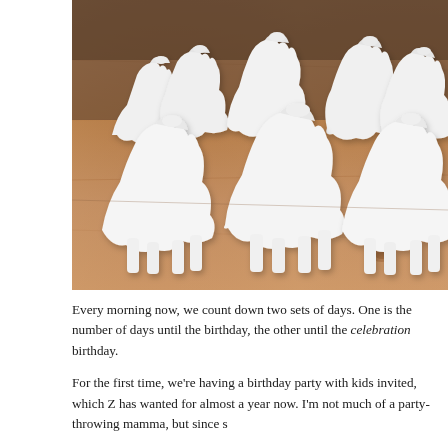[Figure (photo): Multiple small white clay or plaster horse figurines arranged on a wooden table surface, photographed from above at an angle. The horses are unpainted and handmade-looking.]
Every morning now, we count down two sets of days.  One is the number of days until the birthday, the other until the celebration birthday.
For the first time, we're having a birthday party with kids invited, which Z has wanted for almost a year now.  I'm not much of a party-throwing mamma, but since s